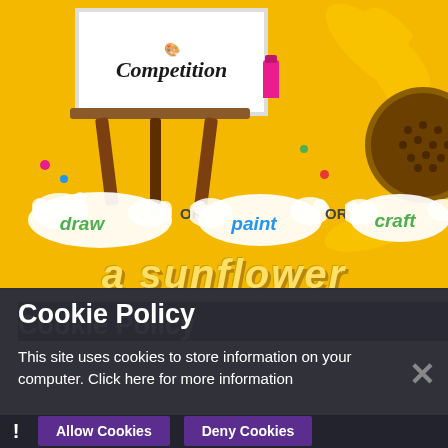[Figure (illustration): Art competition poster showing an easel with a canvas board reading 'Competition' in cursive script, paint bottle, sunflower on right side, white paint splash blobs with text 'draw OR paint OR craft' and large yellow italic text 'a sunflower' on golden yellow background]
Cookie Policy
This site uses cookies to store information on your computer. Click here for more information